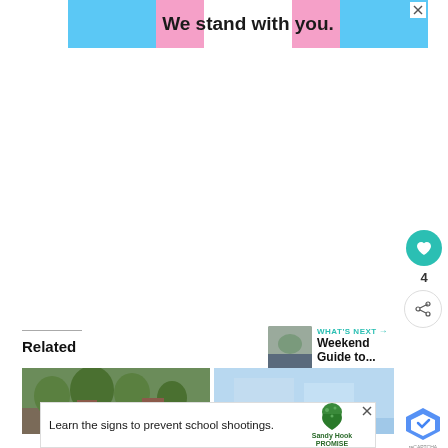[Figure (infographic): Advertisement banner with transgender pride flag colored stripes (blue, pink, white, pink, blue) and text 'We stand with you.' in bold dark font. Has a close X button in top right.]
4
Related
WHAT'S NEXT → Weekend Guide to...
[Figure (photo): Outdoor photo showing green trees and brick buildings]
[Figure (photo): Light blue toned photo, partially visible]
[Figure (infographic): Bottom advertisement: 'Learn the signs to prevent school shootings.' with Sandy Hook Promise logo featuring a green tree. Has a close X button.]